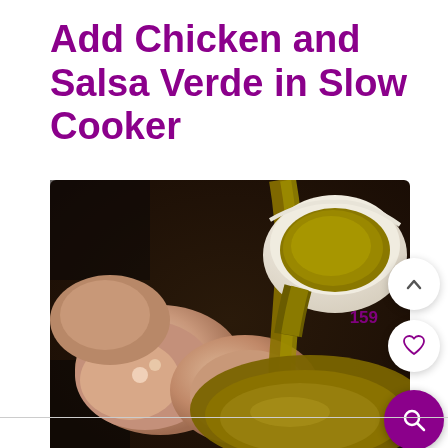Add Chicken and Salsa Verde in Slow Cooker
[Figure (photo): Raw chicken pieces in a slow cooker with olive-green salsa verde being poured over them from a bowl]
159